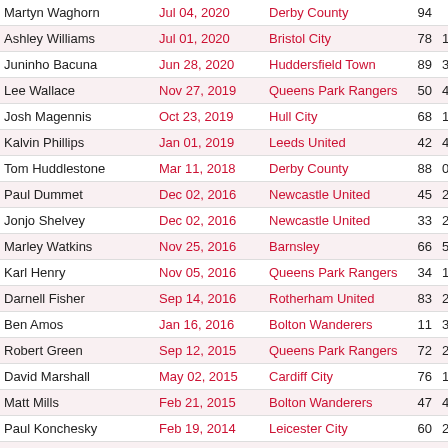| Player | Date | Club | Num1 | Num2 |
| --- | --- | --- | --- | --- |
| Martyn Waghorn | Jul 04, 2020 | Derby County | 94 |  |
| Ashley Williams | Jul 01, 2020 | Bristol City | 78 | 1 |
| Juninho Bacuna | Jun 28, 2020 | Huddersfield Town | 89 | 3 |
| Lee Wallace | Nov 27, 2019 | Queens Park Rangers | 50 | 4 |
| Josh Magennis | Oct 23, 2019 | Hull City | 68 | 1 |
| Kalvin Phillips | Jan 01, 2019 | Leeds United | 42 | 4 |
| Tom Huddlestone | Mar 11, 2018 | Derby County | 88 | 0 |
| Paul Dummet | Dec 02, 2016 | Newcastle United | 45 | 2 |
| Jonjo Shelvey | Dec 02, 2016 | Newcastle United | 33 | 2 |
| Marley Watkins | Nov 25, 2016 | Barnsley | 66 | 5 |
| Karl Henry | Nov 05, 2016 | Queens Park Rangers | 34 | 1 |
| Darnell Fisher | Sep 14, 2016 | Rotherham United | 83 | 2 |
| Ben Amos | Jan 16, 2016 | Bolton Wanderers | 11 | 3 |
| Robert Green | Sep 12, 2015 | Queens Park Rangers | 72 | 2 |
| David Marshall | May 02, 2015 | Cardiff City | 76 | 1 |
| Matt Mills | Feb 21, 2015 | Bolton Wanderers | 47 | 4 |
| Paul Konchesky | Feb 19, 2014 | Leicester City | 60 | 2 |
| Chris Gunter | Nov 29, 2013 | Reading | 81 | 2 |
| Richard Keogh | Sep 28, 2013 | Derby County | 79 | 1 |
| Emmanuel Ledesma | Sep 17, 2013 | Middlesbrough | 90 | 2 |
| Stephen Ward | Mar 09, 2013 | Wolverhampton Wanderers | 83 | 3 |